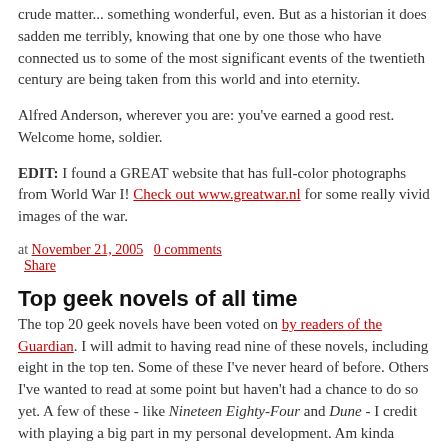crude matter... something wonderful, even. But as a historian it does sadden me terribly, knowing that one by one those who have connected us to some of the most significant events of the twentieth century are being taken from this world and into eternity.
Alfred Anderson, wherever you are: you've earned a good rest. Welcome home, soldier.
EDIT: I found a GREAT website that has full-color photographs from World War I! Check out www.greatwar.nl for some really vivid images of the war.
at November 21, 2005   0 comments
  Share
Top geek novels of all time
The top 20 geek novels have been voted on by readers of the Guardian. I will admit to having read nine of these novels, including eight in the top ten. Some of these I've never heard of before. Others I've wanted to read at some point but haven't had a chance to do so yet. A few of these - like Nineteen Eighty-Four and Dune - I credit with playing a big part in my personal development. Am kinda surprised to see Watchmen here as it's not strictly a novel per se, but it easily ranks as one of the greatest works of English literature in the past 25 years, so it's got that going for it.